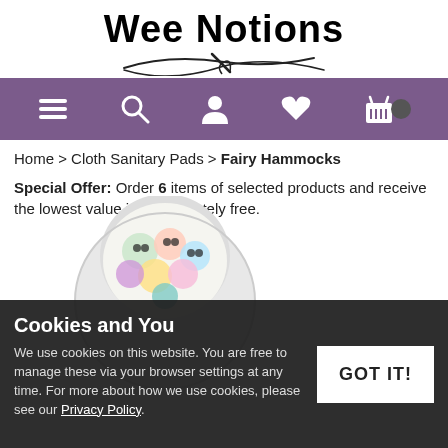[Figure (logo): Wee Notions logo with stylized text and needle/thread decorative underline]
[Figure (screenshot): Purple navigation bar with hamburger menu, search, account, heart/wishlist, and shopping basket icons]
Home > Cloth Sanitary Pads > Fairy Hammocks
Special Offer: Order 6 items of selected products and receive the lowest value item absolutely free.
[Figure (photo): Cloth sanitary pad (Fairy Hammock) with colorful cartoon owl/monster pattern, shown in a teardrop/pad shape]
Cookies and You
We use cookies on this website. You are free to manage these via your browser settings at any time. For more about how we use cookies, please see our Privacy Policy.
GOT IT!